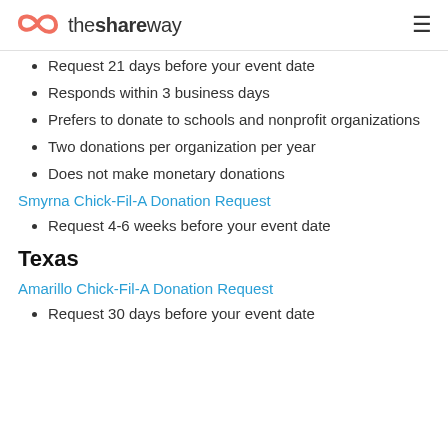theshareway
Request 21 days before your event date
Responds within 3 business days
Prefers to donate to schools and nonprofit organizations
Two donations per organization per year
Does not make monetary donations
Smyrna Chick-Fil-A Donation Request
Request 4-6 weeks before your event date
Texas
Amarillo Chick-Fil-A Donation Request
Request 30 days before your event date